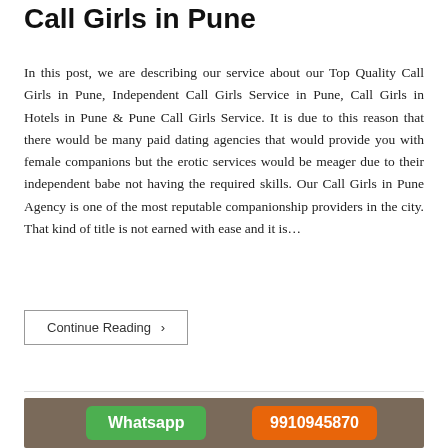Call Girls in Pune
In this post, we are describing our service about our Top Quality Call Girls in Pune, Independent Call Girls Service in Pune, Call Girls in Hotels in Pune & Pune Call Girls Service. It is due to this reason that there would be many paid dating agencies that would provide you with female companions but the erotic services would be meager due to their independent babe not having the required skills. Our Call Girls in Pune Agency is one of the most reputable companionship providers in the city. That kind of title is not earned with ease and it is…
Continue Reading ›
[Figure (photo): Photograph with Whatsapp and phone number buttons overlaid. Green Whatsapp button and orange phone number button showing 9910945870.]